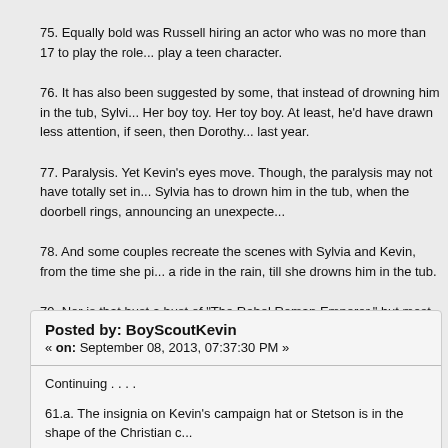75. Equally bold was Russell hiring an actor who was no more than 17 to play the role... play a teen character.
76. It has also been suggested by some, that instead of drowning him in the tub, Sylvi... Her boy toy. Her toy boy. At least, he'd have drawn less attention, if seen, then Dorothy... last year.
77. Paralysis. Yet Kevin's eyes move. Though, the paralysis may not have totally set in... Sylvia has to drown him in the tub, when the doorbell rings, announcing an unexpecte...
78. And some couples recreate the scenes with Sylvia and Kevin, from the time she pi... a ride in the rain, till she drowns him in the tub.
79. Nor is that bust a bust of "The Rebel Roman Emperor," but most likely a bust of Au...
80. It is said that the RAF uniform James wears to visit Sylvia--like Erny's police unifor...
To be continued . . . .
Posted by: BoyScoutKevin
« on: September 08, 2013, 07:37:30 PM »
Continuing . . . .
61.a. The insignia on Kevin's campaign hat or Stetson is in the shape of the Christian c...